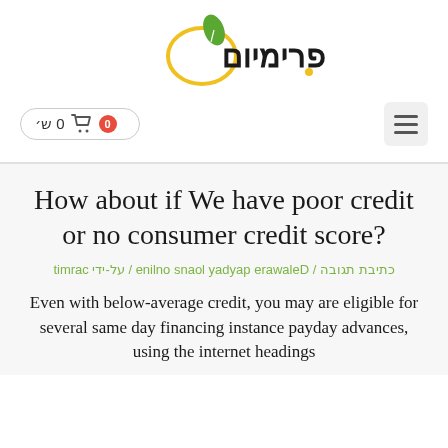[Figure (logo): Frimitom website logo with a lemon/citrus fruit graphic and Hebrew text פרימיום in black and yellow]
[Figure (infographic): Navigation bar with a cart button showing 0 items (red badge with '0', cart icon, Hebrew text '0 ש׳') and a hamburger menu icon on the right]
How about if We have poor credit or no consumer credit score?
כתיבת תגובה / Delaware payday loans online / על-ידי carmit
Even with below-average credit, you may are eligible for several same day financing instance payday advances, using the internet headings